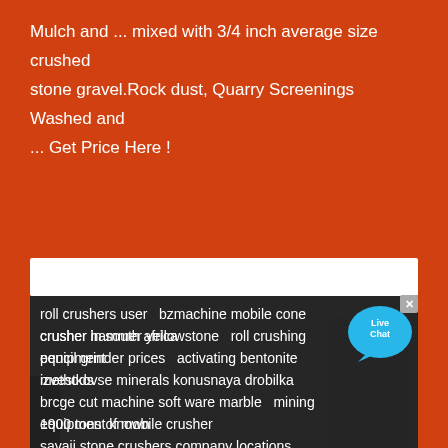Mulch and ... mixed with 3/4 inch average size crushed stone gravel.Rock dust, Quarry Screenings Washed and
... Get Price Here !
roll crushers user   bzmachine mobile cone crusher in south africa
crusher hammer yellowstone   roll crushing equipment
pencil grinder prices   activating bentonite methods
izvestkovse minerals konusnaya drobilka
brcge cut machine soft ware marble   mining equipment known
1900 tons of mobile crusher
sayaji stone crushers company locations
Copyright © 2004-2022 ANC | Sitemap